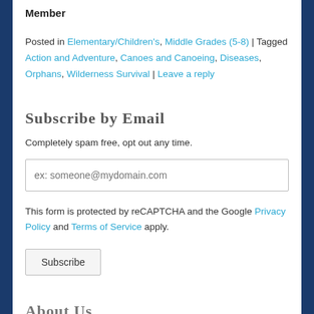Member
Posted in Elementary/Children's, Middle Grades (5-8) | Tagged Action and Adventure, Canoes and Canoeing, Diseases, Orphans, Wilderness Survival | Leave a reply
Subscribe by Email
Completely spam free, opt out any time.
ex: someone@mydomain.com
This form is protected by reCAPTCHA and the Google Privacy Policy and Terms of Service apply.
Subscribe
About Us